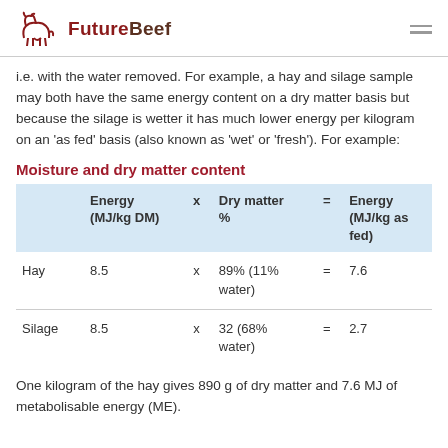FutureBeef
i.e. with the water removed. For example, a hay and silage sample may both have the same energy content on a dry matter basis but because the silage is wetter it has much lower energy per kilogram on an 'as fed' basis (also known as 'wet' or 'fresh'). For example:
Moisture and dry matter content
|  | Energy (MJ/kg DM) | x | Dry matter % | = | Energy (MJ/kg as fed) |
| --- | --- | --- | --- | --- | --- |
| Hay | 8.5 | x | 89% (11% water) | = | 7.6 |
| Silage | 8.5 | x | 32 (68% water) | = | 2.7 |
One kilogram of the hay gives 890 g of dry matter and 7.6 MJ of metabolisable energy (ME).